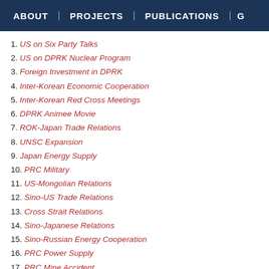ABOUT | PROJECTS | PUBLICATIONS | G
1. US on Six Party Talks
2. US on DPRK Nuclear Program
3. Foreign Investment in DPRK
4. Inter-Korean Economic Cooperation
5. Inter-Korean Red Cross Meetings
6. DPRK Animee Movie
7. ROK-Japan Trade Relations
8. UNSC Expansion
9. Japan Energy Supply
10. PRC Military
11. US-Mongolian Relations
12. Sino-US Trade Relations
13. Cross Strait Relations
14. Sino-Japanese Relations
15. Sino-Russian Energy Cooperation
16. PRC Power Supply
17. PRC Mine Accident
18. PRC Population Development
19. PRC Cloning Experiment